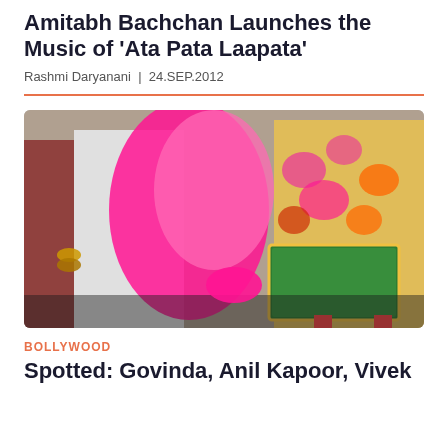Amitabh Bachchan Launches the Music of 'Ata Pata Laapata'
Rashmi Daryanani | 24.SEP.2012
[Figure (photo): Close-up photo of people at a Bollywood event. A woman in a bright pink dupatta/outfit is visible along with another person in a colorful yellow and pink floral outfit holding a green decorated item. A man in white is partially visible on the left.]
BOLLYWOOD
Spotted: Govinda, Anil Kapoor, Vivek